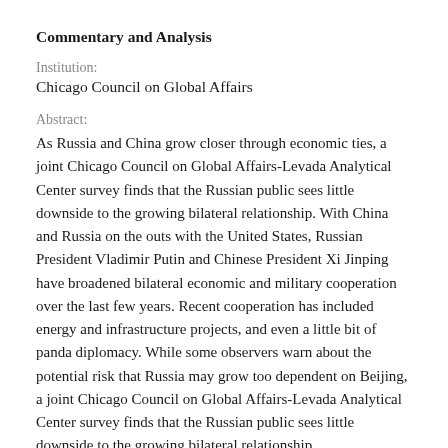Commentary and Analysis
Institution:
Chicago Council on Global Affairs
Abstract:
As Russia and China grow closer through economic ties, a joint Chicago Council on Global Affairs-Levada Analytical Center survey finds that the Russian public sees little downside to the growing bilateral relationship. With China and Russia on the outs with the United States, Russian President Vladimir Putin and Chinese President Xi Jinping have broadened bilateral economic and military cooperation over the last few years. Recent cooperation has included energy and infrastructure projects, and even a little bit of panda diplomacy. While some observers warn about the potential risk that Russia may grow too dependent on Beijing, a joint Chicago Council on Global Affairs-Levada Analytical Center survey finds that the Russian public sees little downside to the growing bilateral relationship.
Topic: